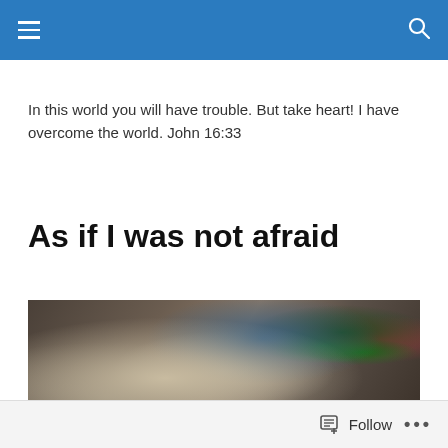Navigation header with menu and search icons
In this world you will have trouble. But take heart! I have overcome the world. John 16:33
As if I was not afraid
[Figure (photo): A person lying in a hospital bed, heavily connected to medical equipment including tubes, ventilator mask, and IV lines. Green indicator lights and medical devices visible in background.]
Follow ...